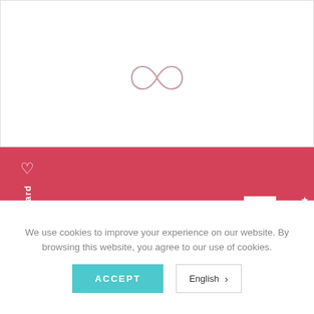[Figure (logo): Infinity symbol logo outline in light pink/rose color]
[Figure (infographic): Pink sidebar with heart icon and 'Mystery Gift Card' vertical text; pink main area with 'T IN TOUCH' and 'ORMATION' headings in white; white geometric logo shape bottom right; star Reviews tab on far right]
We use cookies to improve your experience on our website. By browsing this website, you agree to our use of cookies.
ACCEPT
English >